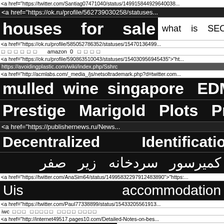<a href="https://twitter.com/Santiag07471040/status/149915844929640038...
<a href="https://ok.ru/profile/562739030258/statuses...
houses   for   sale     what   is   SEO
<a href="https://ok.ru/profile/585052786352/statuses/154701364990...
□ □ □ □ □ □   amazon  0  □ □ □ □
<a href="https://ok.ru/profile/590863510043/statuses/154030956945435">"ht...
https://avoidingplastic.com/wiki/index.php/Sshrc
<a href="http://acmlabs.com/_media_/js/netsoltrademark.php?d=twitter.com...
mulled wine singapore   EDM DJ
Prestige   Marigold   Plots   Price
<a href="https://publishernews.ru/News...
Decentralized         Identification
كميرسور  سردخانه  زير  صفر
<a href="https://twitter.com/AnaSim64/status/14995832297912483890">"https:...
Uis                  accommodation
<a href="https://twitter.com/Paul77338899/status/15433205561913...
iwc □ □ □   □ □ □ □ □ □ □ □ □ □ □ □
<a href="http://internet49517.pages10.com/Detailed-Notes-on-bes...
buy   bale   net     купить  жидкий
werder  bremen  trikot  günstig   Polissage bijoutier
<a href="http://ecowars.tv/info/19391-k...